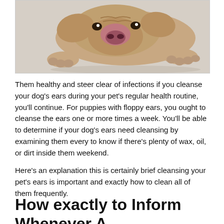[Figure (photo): A dog (puppy) lying flat on a surface, viewed from above/front, with large paws and floppy ears visible]
Them healthy and steer clear of infections if you cleanse your dog's ears during your pet's regular health routine, you'll continue. For puppies with floppy ears, you ought to cleanse the ears one or more times a week. You'll be able to determine if your dog's ears need cleansing by examining them every to know if there's plenty of wax, oil, or dirt inside them weekend.
Here's an explanation this is certainly brief cleansing your pet's ears is important and exactly how to clean all of them frequently.
How exactly to Inform Whenever A Dog's Ears Need Cleansing